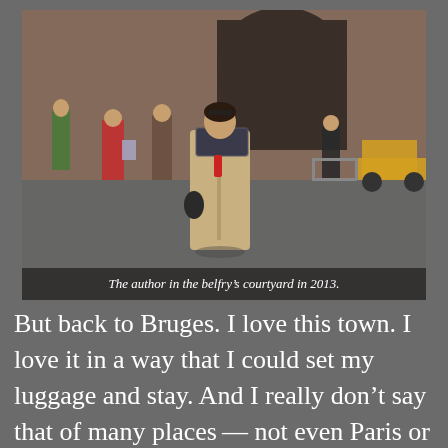[Figure (photo): A woman in a beige trench coat and plaid scarf stands smiling in a cobblestone courtyard in front of a large medieval brick building with an arched gateway. Other tourists and workers are visible in the background.]
The author in the belfry's courtyard in 2013.
But back to Bruges. I love this town. I love it in a way that I could set my luggage and stay. And I really don't say that of many places — not even Paris or New York or London. The